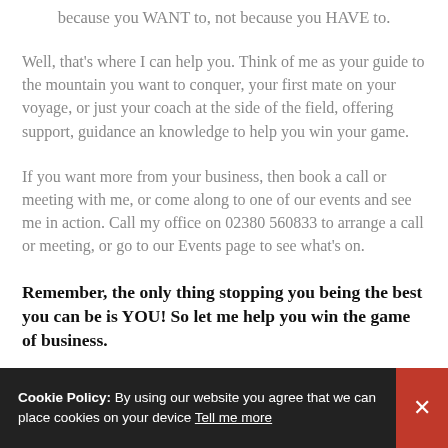because you WANT to, not because you HAVE to.
Well, that's where I can help you. Think of me as your guide to the mountain you want to conquer, your first mate on your voyage, or just your coach at the side of the field, offering support, guidance an knowledge to help you win your game.
If you want more from your business, then book a call or meeting with me, or come along to one of our events and see me in action. Call my office on 02380 560833 to arrange a call or meeting, or go to our Events page to see what's on.
Remember, the only thing stopping you being the best you can be is YOU! So let me help you win the game of business.
Cookie Policy: By using our website you agree that we can place cookies on your device Tell me more